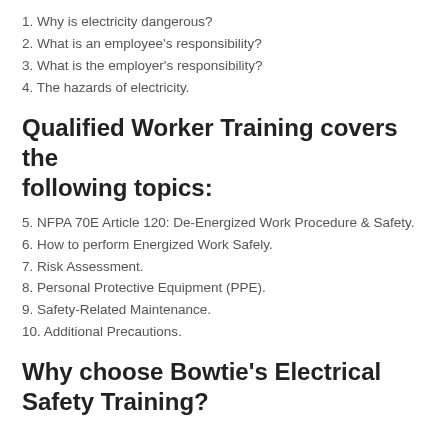1. Why is electricity dangerous?
2. What is an employee's responsibility?
3. What is the employer's responsibility?
4. The hazards of electricity.
Qualified Worker Training covers the following topics:
5. NFPA 70E Article 120: De-Energized Work Procedure & Safety.
6. How to perform Energized Work Safely.
7. Risk Assessment.
8. Personal Protective Equipment (PPE).
9. Safety-Related Maintenance.
10. Additional Precautions.
Why choose Bowtie's Electrical Safety Training?